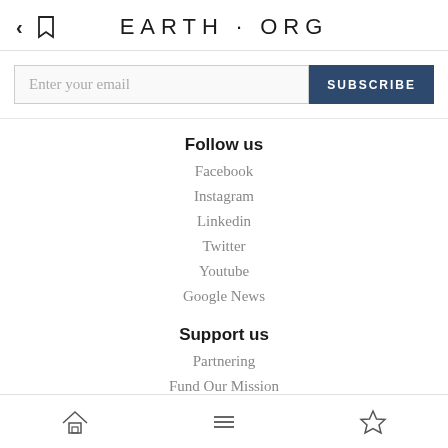EARTH·ORG
Enter your email
SUBSCRIBE
Follow us
Facebook
Instagram
Linkedin
Twitter
Youtube
Google News
Support us
Partnering
Fund Our Mission
Supporters
Submit Content
Home | Menu | Bookmark